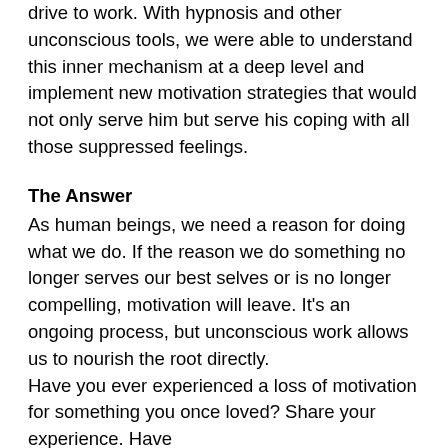drive to work. With hypnosis and other unconscious tools, we were able to understand this inner mechanism at a deep level and implement new motivation strategies that would not only serve him but serve his coping with all those suppressed feelings.
The Answer
As human beings, we need a reason for doing what we do. If the reason we do something no longer serves our best selves or is no longer compelling, motivation will leave. It's an ongoing process, but unconscious work allows us to nourish the root directly. Have you ever experienced a loss of motivation for something you once loved? Share your experience. Have